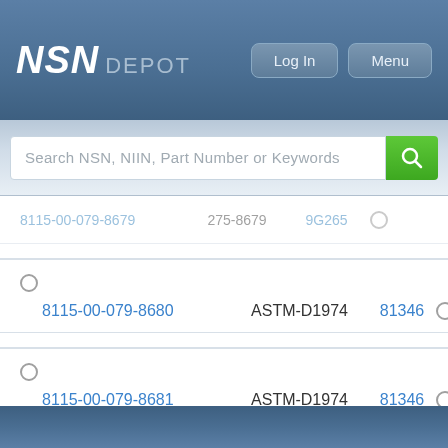NSN DEPOT
Search NSN, NIIN, Part Number or Keywords
| NSN | Part Number | CAGE |
| --- | --- | --- |
| 8115-00-079-8679 | 275-8679 | 9G265 |
| 8115-00-079-8680 | ASTM-D1974 | 81346 |
| 8115-00-079-8681 | ASTM-D1974 | 81346 |